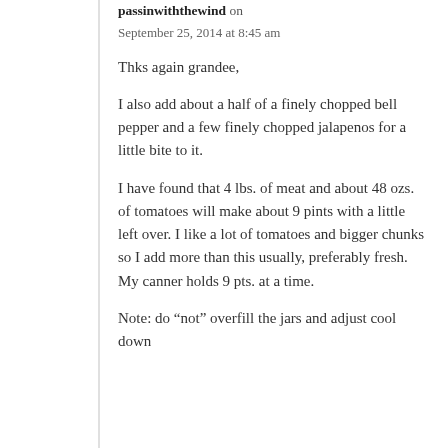passinwiththewind on
September 25, 2014 at 8:45 am
Thks again grandee,
I also add about a half of a finely chopped bell pepper and a few finely chopped jalapenos for a little bite to it.
I have found that 4 lbs. of meat and about 48 ozs. of tomatoes will make about 9 pints with a little left over. I like a lot of tomatoes and bigger chunks so I add more than this usually, preferably fresh. My canner holds 9 pts. at a time.
Note: do “not” overfill the jars and adjust cool down